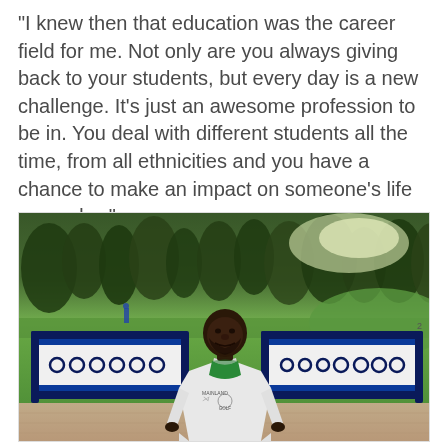“I knew then that education was the career field for me. Not only are you always giving back to your students, but every day is a new challenge. It’s just an awesome profession to be in. You deal with different students all the time, from all ethnicities and you have a chance to make an impact on someone’s life every day.”
[Figure (photo): A man wearing a white polo shirt with a green neck gaiter standing in front of a golf course barrier/scoreboard with trees and green grass in the background. The shirt has an Under Armour logo and appears to say Mainland Golf.]